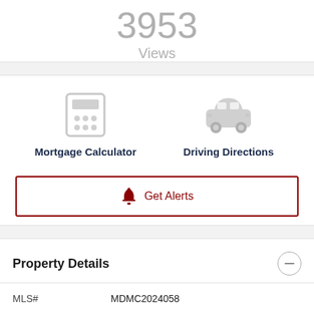3953
Views
[Figure (infographic): Mortgage Calculator icon (calculator graphic) and Driving Directions icon (car graphic) side by side]
Mortgage Calculator
Driving Directions
Get Alerts
Property Details
MLS#
MDMC2024058